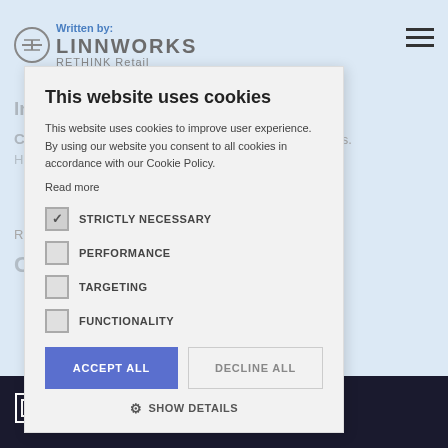Written by: LINNWORKS RETHINK Retail
COVID-19 slowed shipping and increased prices. Helping improve... and the years that follow.
This website uses cookies
This website uses cookies to improve user experience. By using our website you consent to all cookies in accordance with our Cookie Policy.
Read more
STRICTLY NECESSARY
PERFORMANCE
TARGETING
FUNCTIONALITY
ACCEPT ALL
DECLINE ALL
SHOW DETAILS
Rethink
Customer Experience
[Figure (logo): RETHINK logo in white on dark background strip at the bottom]